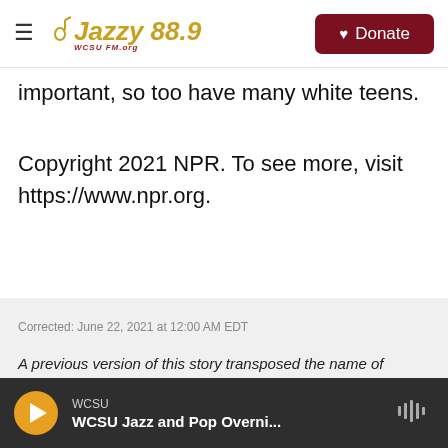Jazzy 88.9 | WCSU FM.org — Donate
important, so too have many white teens.
Copyright 2021 NPR. To see more, visit https://www.npr.org.
Corrected: June 22, 2021 at 12:00 AM EDT
A previous version of this story transposed the name of author Frederick Joseph to incorrectly say Joseph Frederick.
WCSU — WCSU Jazz and Pop Overni...